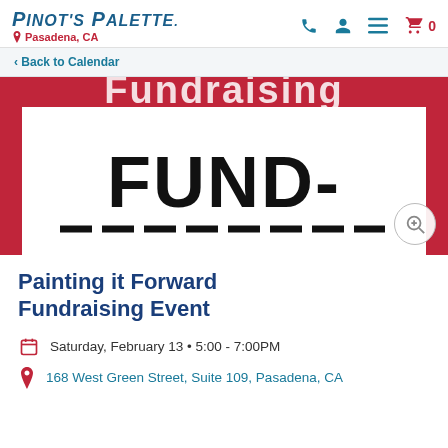Pinot's Palette — Pasadena, CA
< Back to Calendar
[Figure (photo): Event promotional image with crimson/red background showing large bold text 'FUND-' and partially visible additional text below, white content area in center]
Painting it Forward Fundraising Event
Saturday, February 13 • 5:00 - 7:00PM
168 West Green Street, Suite 109, Pasadena, CA